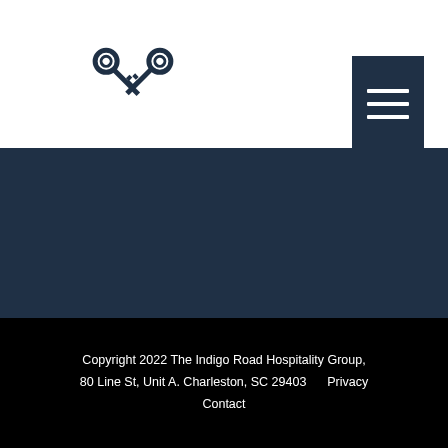[Figure (logo): Crossed keys logo icon for The Indigo Road Hospitality Group]
[Figure (other): Hamburger menu button — dark navy square with three horizontal white lines]
Copyright 2022 The Indigo Road Hospitality Group, 80 Line St, Unit A. Charleston, SC 29403    Privacy    Contact